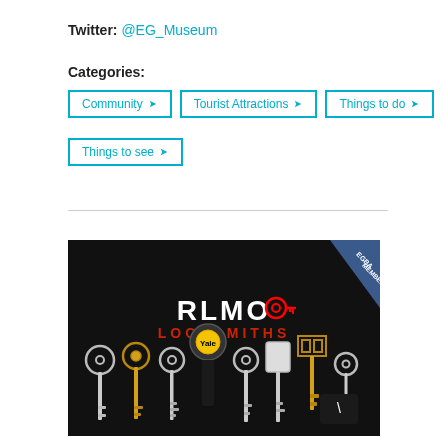Twitter: @EG_Museum
Categories:
Community
Tourist Attractions
Things to do
Things to see
[Figure (photo): RLM Locksmiths advertisement photo showing various keys on a black background with the RLMO Locksmiths logo in white and red text, and an EGBA MEMBER badge in the top right corner.]